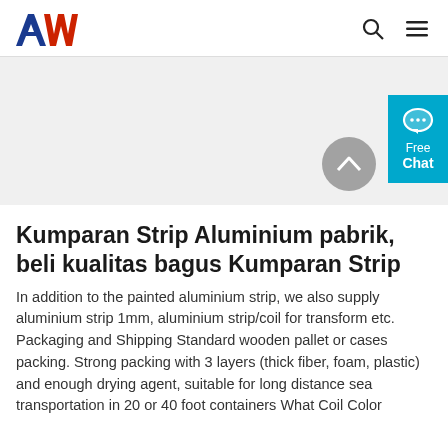AW logo, search icon, menu icon
[Figure (other): Website header and product image area with cyan Free Chat button on the right side and a grey scroll-up arrow button]
Kumparan Strip Aluminium pabrik, beli kualitas bagus Kumparan Strip
In addition to the painted aluminium strip, we also supply aluminium strip 1mm, aluminium strip/coil for transform etc. Packaging and Shipping Standard wooden pallet or cases packing. Strong packing with 3 layers (thick fiber, foam, plastic) and enough drying agent, suitable for long distance sea transportation in 20 or 40 foot containers What Coil Color